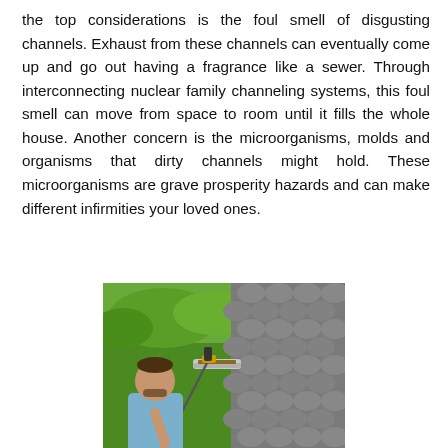the top considerations is the foul smell of disgusting channels. Exhaust from these channels can eventually come up and go out having a fragrance like a sewer. Through interconnecting nuclear family channeling systems, this foul smell can move from space to room until it fills the whole house. Another concern is the microorganisms, molds and organisms that dirty channels might hold. These microorganisms are grave prosperity hazards and can make different infirmities your loved ones.
[Figure (photo): A man holding a long pole tool, cleaning or inspecting a gutter on a rooftop. The roof has grey rounded tiles. The background shows a green lawn and foliage.]